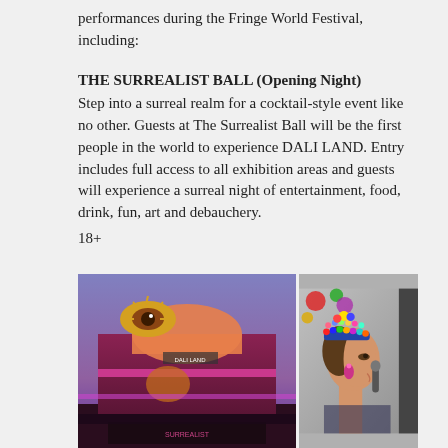performances during the Fringe World Festival, including:
THE SURREALIST BALL (Opening Night)
Step into a surreal realm for a cocktail-style event like no other. Guests at The Surrealist Ball will be the first people in the world to experience DALI LAND. Entry includes full access to all exhibition areas and guests will experience a surreal night of entertainment, food, drink, fun, art and debauchery.
18+
[Figure (photo): Two side-by-side photos: left shows a colorful carnival-style building at night with a large eye decoration, pink and purple lighting, and surrealist artwork; right shows a woman smiling in profile wearing elaborate colorful beaded headpiece and jewelry.]